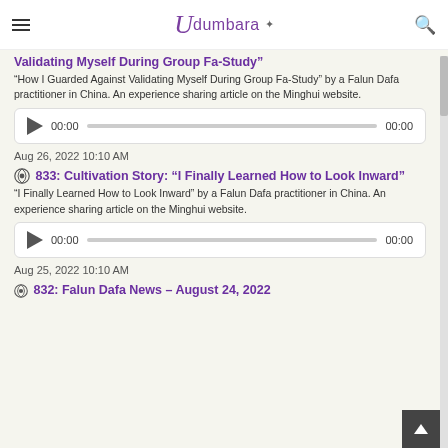Udumbara
Validating Myself During Group Fa-Study”
"How I Guarded Against Validating Myself During Group Fa-Study" by a Falun Dafa practitioner in China. An experience sharing article on the Minghui website.
[Figure (other): Audio player with play button, time display 00:00, progress bar, and end time 00:00]
Aug 26, 2022 10:10 AM
833: Cultivation Story: “I Finally Learned How to Look Inward”
"I Finally Learned How to Look Inward" by a Falun Dafa practitioner in China. An experience sharing article on the Minghui website.
[Figure (other): Audio player with play button, time display 00:00, progress bar, and end time 00:00]
Aug 25, 2022 10:10 AM
832: Falun Dafa News – August 24, 2022